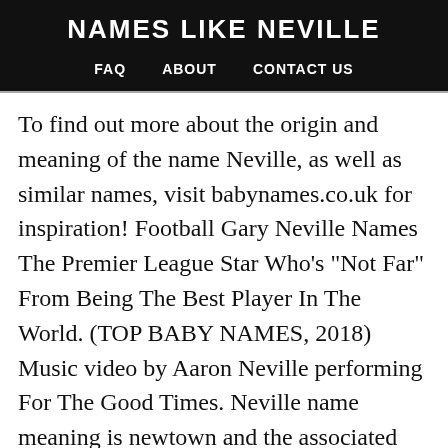NAMES LIKE NEVILLE
FAQ   ABOUT   CONTACT US
To find out more about the origin and meaning of the name Neville, as well as similar names, visit babynames.co.uk for inspiration! Football Gary Neville Names The Premier League Star Who's "Not Far" From Being The Best Player In The World. (TOP BABY NAMES, 2018) Music video by Aaron Neville performing For The Good Times. Neville name meaning is newtown and the associated lucky number is 7. clear men. Neville Name Meaning in English Neville is a christian boy name and it is an English originated name with multiple meanings.